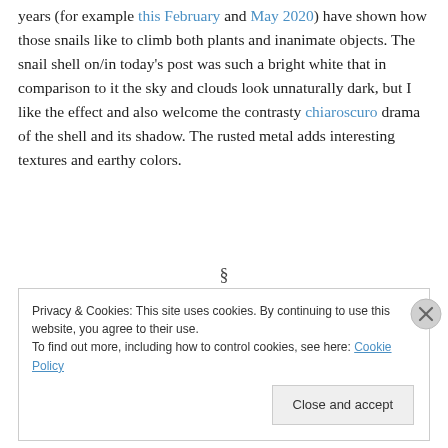years (for example this February and May 2020) have shown how those snails like to climb both plants and inanimate objects. The snail shell on/in today's post was such a bright white that in comparison to it the sky and clouds look unnaturally dark, but I like the effect and also welcome the contrasty chiaroscuro drama of the shell and its shadow. The rusted metal adds interesting textures and earthy colors.
§
Privacy & Cookies: This site uses cookies. By continuing to use this website, you agree to their use. To find out more, including how to control cookies, see here: Cookie Policy
Close and accept